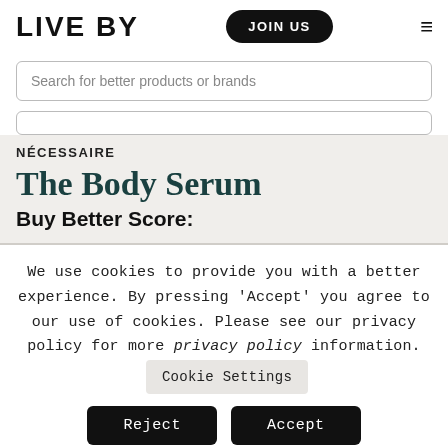LIVE BY
Search for better products or brands
NÉCESSAIRE
The Body Serum
Buy Better Score:
We use cookies to provide you with a better experience. By pressing 'Accept' you agree to our use of cookies. Please see our privacy policy for more privacy policy information.
Cookie Settings
Reject
Accept